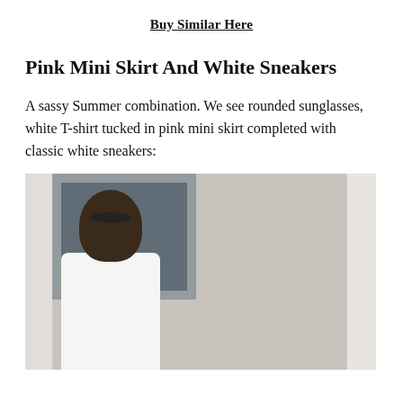Buy Similar Here
Pink Mini Skirt And White Sneakers
A sassy Summer combination. We see rounded sunglasses, white T-shirt tucked in pink mini skirt completed with classic white sneakers:
[Figure (photo): Young woman wearing round sunglasses, white T-shirt, standing outdoors near a column and glass door/window]